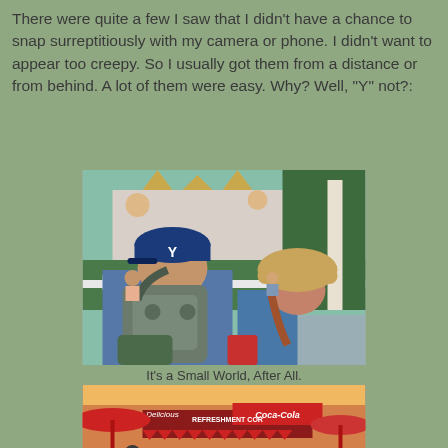There were quite a few I saw that I didn't have a chance to snap surreptitiously with my camera or phone. I didn't want to appear too creepy. So I usually got them from a distance or from behind. A lot of them were easy. Why? Well, "Y" not?:
[Figure (photo): Two people seen from behind at what appears to be a theme park (It's a Small World area). The person on the left wears a blue BYU baseball cap and carries a grey backpack. The person on the right wears a tan/straw hat and a grey shirt. Park scenery with white fence, hedges and building visible in background.]
It's a Small World, After All.
[Figure (photo): Outdoor scene at what appears to be a theme park refreshment area. Red umbrellas visible in the foreground. A Coca-Cola Refreshment Corner sign is partially visible in the background along with warm lighting.]